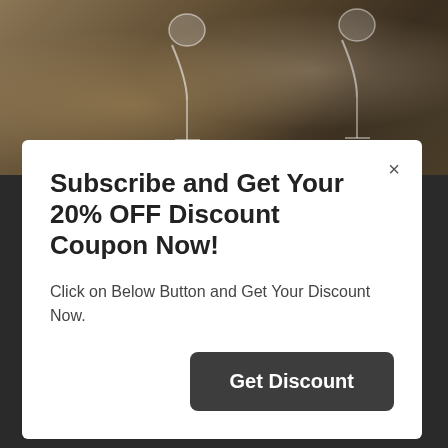[Figure (photo): Top portion of a restaurant/dining scene photograph showing wine glasses and table setting on a dark wooden surface]
Subscribe and Get Your 20% OFF Discount Coupon Now!
Click on Below Button and Get Your Discount Now.
Get Discount
By using this website, you agree that we and our partners may set cookies for purposes such as customising content and advertising.  I Understand